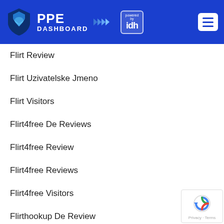[Figure (logo): PPE Dashboard logo with shield icon, arrows, and 'powered by idh' badge, with hamburger menu on the right, on a blue background header]
Flirt Review
Flirt Uzivatelske Jmeno
Flirt Visitors
Flirt4free De Reviews
Flirt4free Review
Flirt4free Reviews
Flirt4free Visitors
Flirthookup De Review
Flirthookup Fr Reviews
[Figure (logo): Google reCAPTCHA badge with Privacy and Terms links]